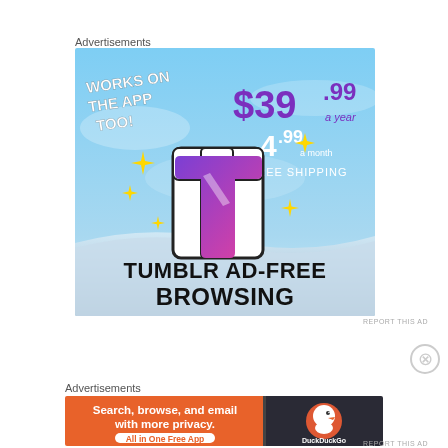Advertisements
[Figure (illustration): Tumblr Ad-Free Browsing advertisement banner showing Tumblr logo, pricing $39.99 a year or $4.99 a month, plus free shipping, works on the app too]
REPORT THIS AD
Advertisements
[Figure (illustration): DuckDuckGo advertisement: Search, browse, and email with more privacy. All in One Free App]
REPORT THIS AD